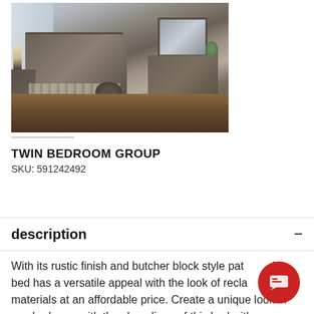[Figure (photo): Bedroom furniture set with rustic finish including twin bed with headboard, dresser with mirror, nightstand and lamp on hardwood floor with striped rug. A dark round pouf is in the foreground.]
TWIN BEDROOM GROUP
SKU: 591242492
description
With its rustic finish and butcher block style pattern, this bed has a versatile appeal with the look of reclaimed materials at an affordable price. Create a unique look in any bedroom with the clean lines of this bed with a